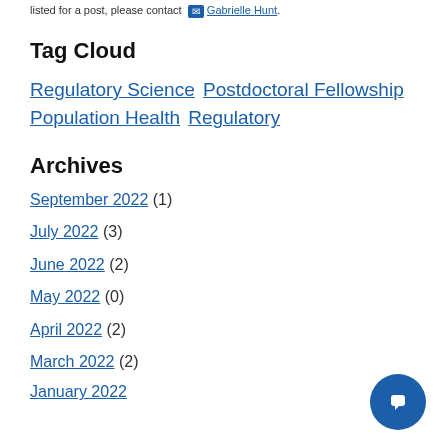listed for a post, please contact … Gabrielle Hunt.
Tag Cloud
Regulatory Science Postdoctoral Fellowship Population Health Regulatory
Archives
September 2022 (1)
July 2022 (3)
June 2022 (2)
May 2022 (0)
April 2022 (2)
March 2022 (2)
January 2022 (1)